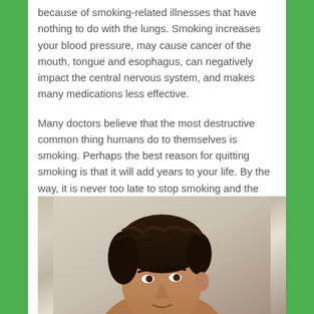because of smoking-related illnesses that have nothing to do with the lungs. Smoking increases your blood pressure, may cause cancer of the mouth, tongue and esophagus, can negatively impact the central nervous system, and makes many medications less effective.
Many doctors believe that the most destructive common thing humans do to themselves is smoking. Perhaps the best reason for quitting smoking is that it will add years to your life. By the way, it is never too late to stop smoking and the benefits begin immediately once you stop.
[Figure (photo): Portrait photo of a young man with dark wavy hair, viewed from slightly below, light background]